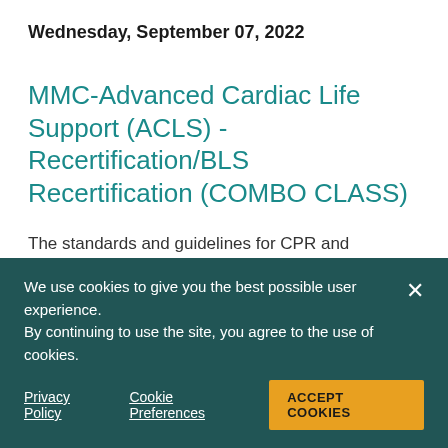Wednesday, September 07, 2022
MMC-Advanced Cardiac Life Support (ACLS) - Recertification/BLS Recertification (COMBO CLASS)
The standards and guidelines for CPR and emergency cardiac care as developed by the American Heart Association will be presented. Course requirements are a current BLS and successful completion of an EKG interpretation
We use cookies to give you the best possible user experience. By continuing to use the site, you agree to the use of cookies.
Privacy Policy   Cookie Preferences   ACCEPT COOKIES